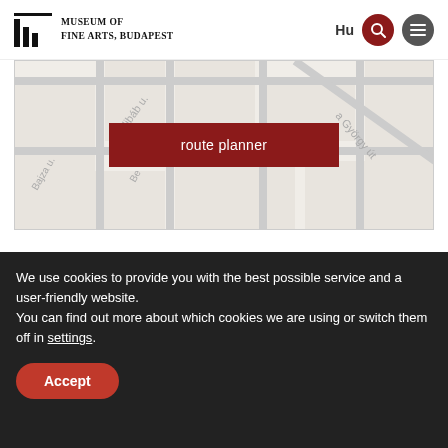Museum of Fine Arts, Budapest
[Figure (map): Street map of the area around the Museum of Fine Arts Budapest, showing streets Délibáb u., György út, Bajza u., Be... with street grid lines]
route planner
OPENING HOURS
Monday: closed
We use cookies to provide you with the best possible service and a user-friendly website.
You can find out more about which cookies we are using or switch them off in settings.
Accept